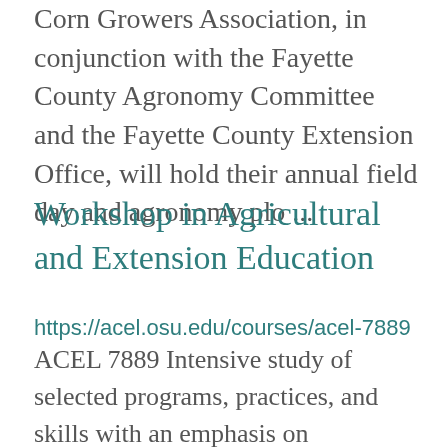Corn Growers Association, in conjunction with the Fayette County Agronomy Committee and the Fayette County Extension Office, will hold their annual field day and agronomy plo ...
Workshop in Agricultural and Extension Education
https://acel.osu.edu/courses/acel-7889
ACEL 7889 Intensive study of selected programs, practices, and skills with an emphasis on applications in agricultural and extension education. Prereq: Teaching or extension experience. Repeatable to a maximum of 12 cr hrs. 18 contact hrs ...